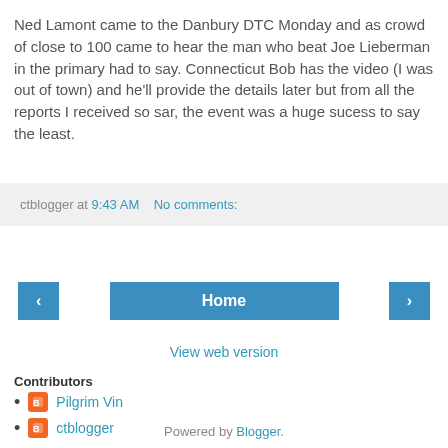Ned Lamont came to the Danbury DTC Monday and as crowd of close to 100 came to hear the man who beat Joe Lieberman in the primary had to say. Connecticut Bob has the video (I was out of town) and he'll provide the details later but from all the reports I received so sar, the event was a huge sucess to say the least.
ctblogger at 9:43 AM   No comments:
Home
View web version
Contributors
Pilgrim Vin
ctblogger
Powered by Blogger.